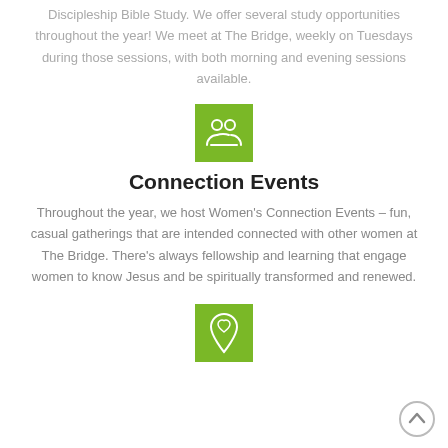Discipleship Bible Study. We offer several study opportunities throughout the year! We meet at The Bridge, weekly on Tuesdays during those sessions, with both morning and evening sessions available.
[Figure (illustration): Green square icon with white group/people silhouette icon]
Connection Events
Throughout the year, we host Women's Connection Events – fun, casual gatherings that are intended connected with other women at The Bridge. There's always fellowship and learning that engage women to know Jesus and be spiritually transformed and renewed.
[Figure (illustration): Green square icon with white heart/location pin icon]
[Figure (illustration): Back to top circular button with upward chevron]